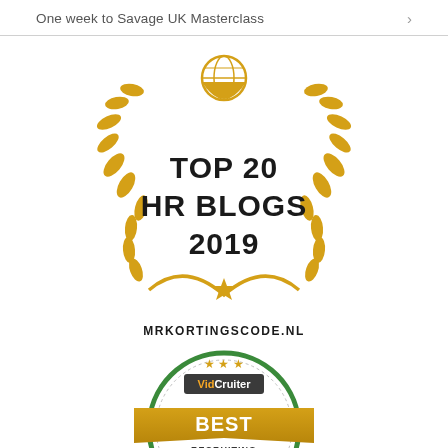One week to Savage UK Masterclass >
[Figure (illustration): Award badge: Top 20 HR Blogs 2019 with golden laurel wreath and globe icon, branded mrkortingscode.nl]
[Figure (illustration): VidCruiter award badge: Best Recruiting Blogs 2019, circular green border with gold ribbon banner, partially cropped at bottom]